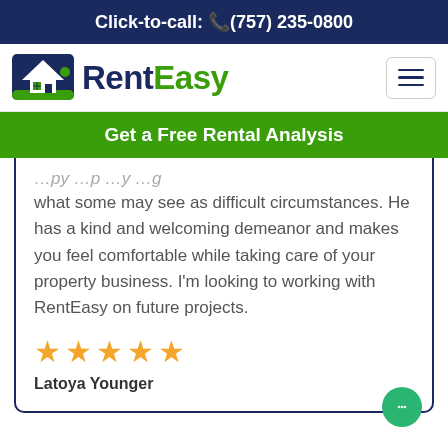Click-to-call: (757) 235-0800
[Figure (logo): RentEasy logo with house icon, 'Rent' in dark navy and 'Easy' in green]
what some may see as difficult circumstances. He has a kind and welcoming demeanor and makes you feel comfortable while taking care of your property business. I'm looking to working with RentEasy on future projects.
★★★★★
Latoya Younger